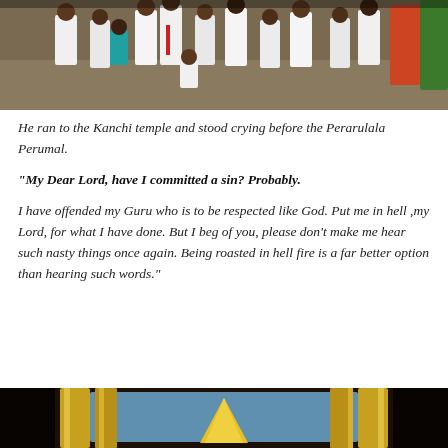[Figure (photo): Aerial/overhead view of people in traditional Indian temple attire (white dhotis, some with colored cloth), likely at a temple ceremony or procession.]
He ran to the Kanchi temple and stood crying before the Perarulala Perumal.
“My Dear Lord, have I committed a sin? Probably.
I have offended my Guru who is to be respected like God. Put me in hell ,my Lord, for what I have done. But I beg of you, please don’t make me hear such nasty things once again. Being roasted in hell fire is a far better option than hearing such words.”
[Figure (photo): Dark image showing golden pillars/columns of a temple interior with a light blue background and a yellow/golden conical shape (possibly a lamp or idol).]